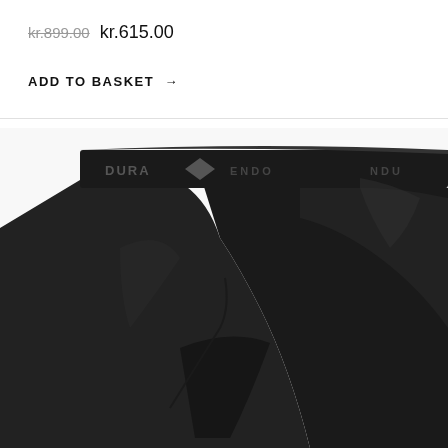kr.899.00 kr.615.00
ADD TO BASKET →
[Figure (photo): Black Endura cycling shorts/tights with branded elastic waistband showing 'ENDURA' text and logo, close-up product photo on white background]